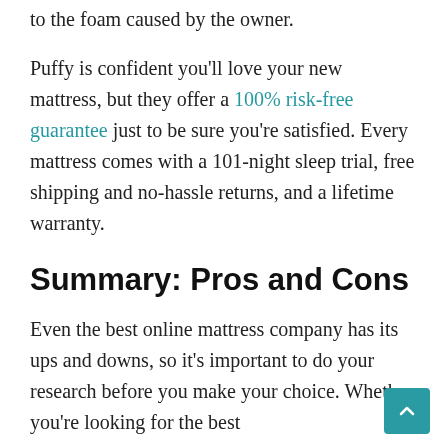to the foam caused by the owner.
Puffy is confident you'll love your new mattress, but they offer a 100% risk-free guarantee just to be sure you're satisfied. Every mattress comes with a 101-night sleep trial, free shipping and no-hassle returns, and a lifetime warranty.
Summary: Pros and Cons
Even the best online mattress company has its ups and downs, so it's important to do your research before you make your choice. Whether you're looking for the best...